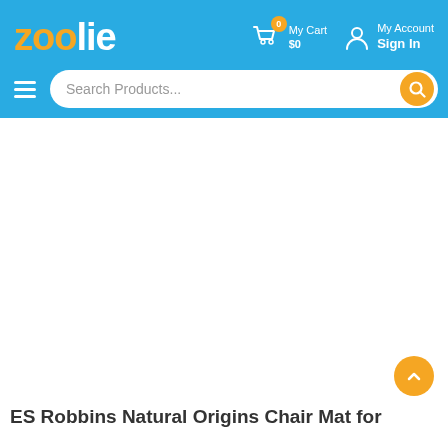zoolie — My Cart $0  My Account Sign In — Search Products...
ES Robbins Natural Origins Chair Mat for...